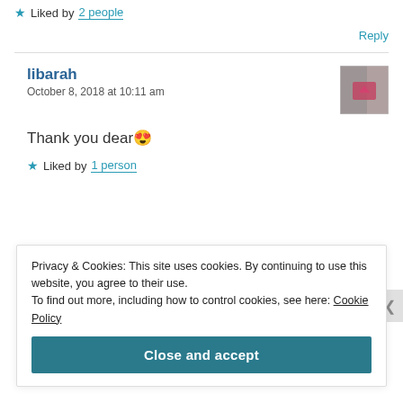★ Liked by 2 people
Reply
libarah
October 8, 2018 at 10:11 am
[Figure (photo): User avatar thumbnail for libarah]
Thank you dear 😍
★ Liked by 1 person
Privacy & Cookies: This site uses cookies. By continuing to use this website, you agree to their use.
To find out more, including how to control cookies, see here: Cookie Policy
Close and accept